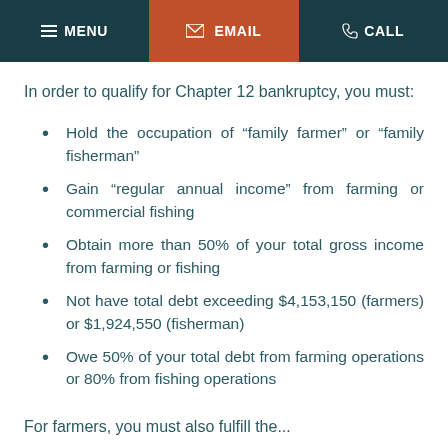MENU  EMAIL  CALL
In order to qualify for Chapter 12 bankruptcy, you must:
Hold the occupation of “family farmer” or “family fisherman”
Gain “regular annual income” from farming or commercial fishing
Obtain more than 50% of your total gross income from farming or fishing
Not have total debt exceeding $4,153,150 (farmers) or $1,924,550 (fisherman)
Owe 50% of your total debt from farming operations or 80% from fishing operations
For farmers, you must also fulfill the...